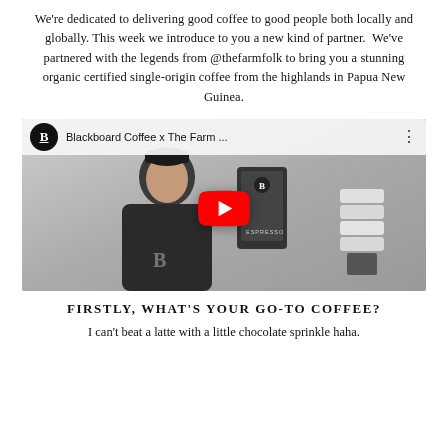We're dedicated to delivering good coffee to good people both locally and globally. This week we introduce to you a new kind of partner.  We've partnered with the legends from @thefarmfolk to bring you a stunning organic certified single-origin coffee from the highlands in Papua New Guinea.
[Figure (screenshot): YouTube video thumbnail for 'Blackboard Coffee x The Farm ...' showing a man in a black hoodie holding a coffee bag labeled ESPRESSO, with the Blackboard Coffee logo and YouTube play button overlay.]
FIRSTLY, WHAT'S YOUR GO-TO COFFEE?
I can't beat a latte with a little chocolate sprinkle haha.